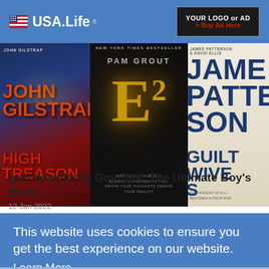USA.Life | YOUR LOGO or AD > Buy Ad Here
[Figure (photo): Three book covers side by side: John Gilstrap 'High Treason', Pam Grout 'E2', James Patterson & David Ellis 'Guilty Wives']
{pdf download} Guy Talk: The Ultimate Boy's Body…
12 Jan 2022
[Figure (photo): Partial view of same three book covers (second article thumbnail)]
s…
This website uses cookies to ensure you get the best experience on our website.
Learn More
Got It!